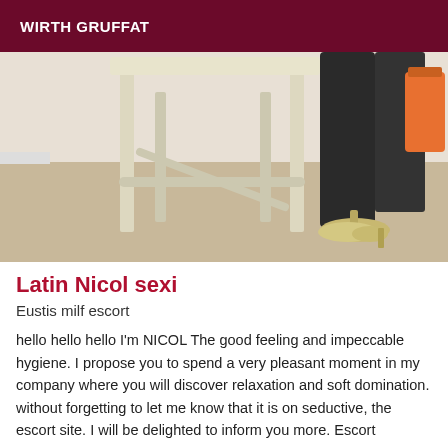WIRTH GRUFFAT
[Figure (photo): Photo showing legs of a woman wearing black stockings and sparkly high heels, with a cream-colored wooden stool/table visible in the background on a light wood floor]
Latin Nicol sexi
Eustis milf escort
hello hello hello I'm NICOL The good feeling and impeccable hygiene. I propose you to spend a very pleasant moment in my company where you will discover relaxation and soft domination. without forgetting to let me know that it is on seductive, the escort site. I will be delighted to inform you more. Escort